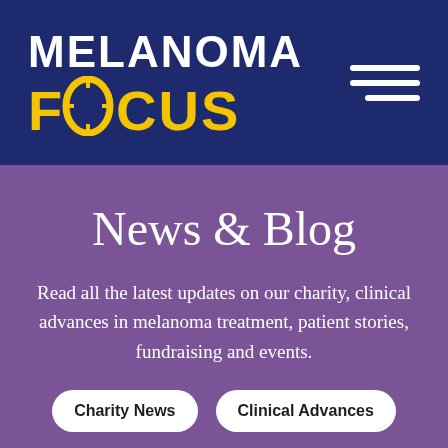[Figure (logo): Melanoma Focus charity logo — white text 'MELANOMA' above yellow text 'FOCUS' with a crosshair/target symbol in the O, on a dark navy background]
News & Blog
Read all the latest updates on our charity, clinical advances in melanoma treatment, patient stories, fundraising and events.
Charity News
Clinical Advances